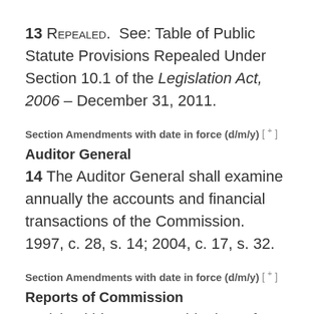13 REPEALED.  See: Table of Public Statute Provisions Repealed Under Section 10.1 of the Legislation Act, 2006 – December 31, 2011.
Section Amendments with date in force (d/m/y) [+]
Auditor General
14 The Auditor General shall examine annually the accounts and financial transactions of the Commission.  1997, c. 28, s. 14; 2004, c. 17, s. 32.
Section Amendments with date in force (d/m/y) [+]
Reports of Commission
15 (1) Within a reasonable time after the close of each fiscal year, the Commission shall file with